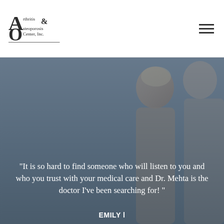[Figure (logo): Arthritis & Osteoporosis Center, Inc. logo with stylized A and O letters]
[Figure (photo): Background photo of elderly couple smiling outdoors, overlaid with dark blue-grey tint. Large white quote text: "It is so hard to find someone who will listen to you and who you trust with your medical care and Dr. Mehta is the doctor I've been searching for! " with partial attribution text EMILY at bottom.]